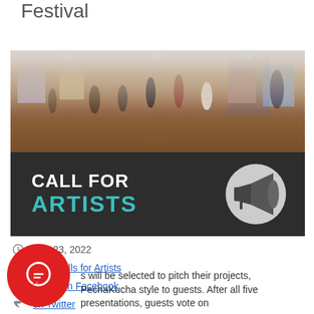Festival
[Figure (photo): Top half: art gallery interior with people mingling; bottom half: dark banner reading CALL FOR ARTISTS with megaphone icon]
Aug 23, 2022
Arts, Calls for Artists
Share on Facebook
on Twitter
s will be selected to pitch their projects, PechaKucha style to guests. After all five presentations, guests vote on